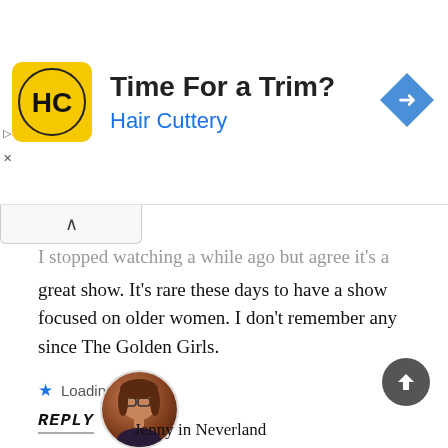[Figure (infographic): Advertisement banner for Hair Cuttery with logo (HC on yellow square), headline 'Time For a Trim?', subtitle 'Hair Cuttery', and a blue diamond navigation arrow icon on the right. Play and X buttons on the left edge.]
I stopped watching a while ago but agree it's a great show. It's rare these days to have a show focused on older women. I don't remember any since The Golden Girls.
Loading...
REPLY
[Figure (photo): Circular avatar photo of a woman with glasses and dark hair]
Jenny in Neverland